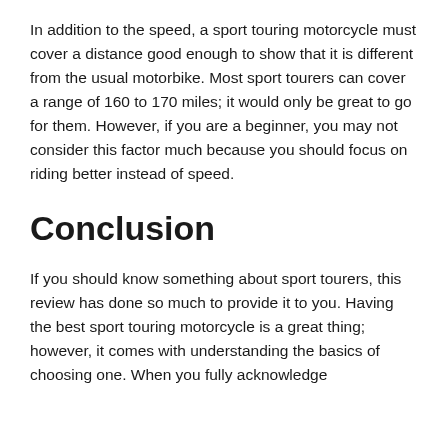In addition to the speed, a sport touring motorcycle must cover a distance good enough to show that it is different from the usual motorbike. Most sport tourers can cover a range of 160 to 170 miles; it would only be great to go for them. However, if you are a beginner, you may not consider this factor much because you should focus on riding better instead of speed.
Conclusion
If you should know something about sport tourers, this review has done so much to provide it to you. Having the best sport touring motorcycle is a great thing; however, it comes with understanding the basics of choosing one. When you fully acknowledge